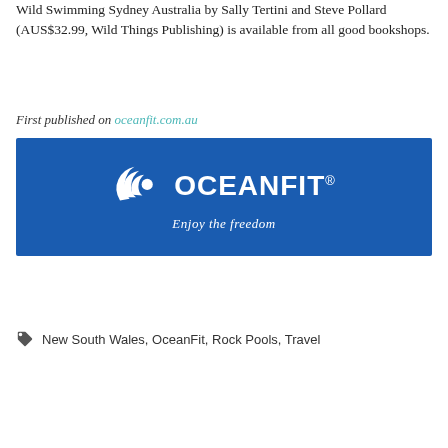Wild Swimming Sydney Australia by Sally Tertini and Steve Pollard (AUS$32.99, Wild Things Publishing) is available from all good bookshops.
First published on oceanfit.com.au
[Figure (logo): OceanFit logo on a blue background with stylised shell/wave icon on the left and the text OCEANFIT. in white bold capital letters, with tagline 'Enjoy the freedom' in white italic script beneath.]
New South Wales, OceanFit, Rock Pools, Travel